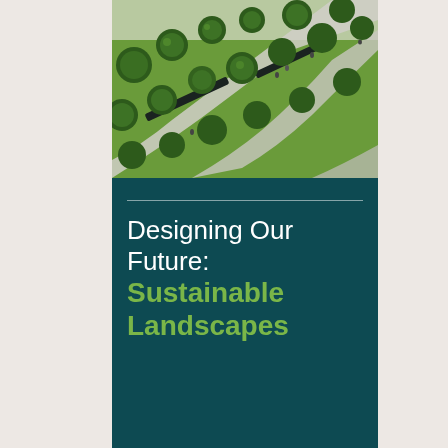[Figure (photo): Aerial view of a sustainable urban landscape park with trees, green lawn areas, curved pathways, and pedestrians walking through the space]
Designing Our Future: Sustainable Landscapes